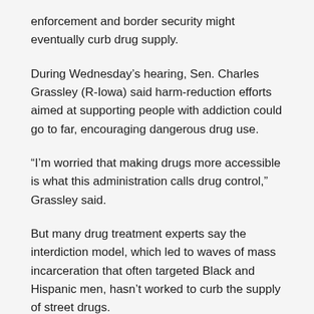enforcement and border security might eventually curb drug supply.
During Wednesday's hearing, Sen. Charles Grassley (R-Iowa) said harm-reduction efforts aimed at supporting people with addiction could go to far, encouraging dangerous drug use.
“I’m worried that making drugs more accessible is what this administration calls drug control,” Grassley said.
But many drug treatment experts say the interdiction model, which led to waves of mass incarceration that often targeted Black and Hispanic men, hasn’t worked to curb the supply of street drugs.
Falko Ernst with the International Crisis Group said the situation deteriorated further in recent years, after the Mexican government withdrew from efforts to target drug